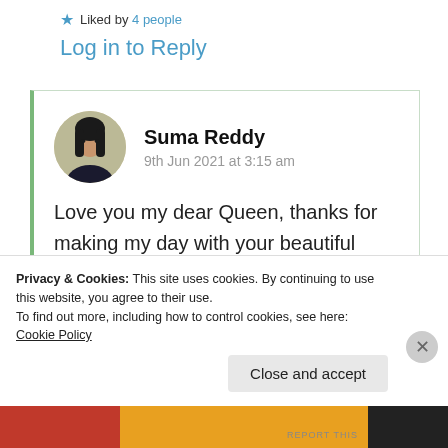★ Liked by 4 people
Log in to Reply
Suma Reddy
9th Jun 2021 at 3:15 am
Love you my dear Queen, thanks for making my day with your beautiful visit. It can be compared to you as
Privacy & Cookies: This site uses cookies. By continuing to use this website, you agree to their use.
To find out more, including how to control cookies, see here: Cookie Policy
Close and accept